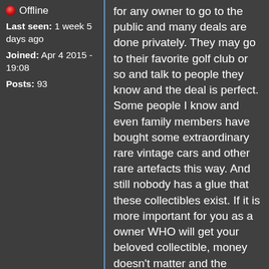🔴 Offline
Last seen: 1 week 5 days ago
Joined: Apr 4 2015 - 19:08
Posts: 93
for any owner to go to the public and many deals are done privately. They may go to their favorite golf club or so and talk to people they know and the deal is perfect. Some people I know and even family members have bought some extraordinary rare vintage cars and other rare artefacts this way. And still nobody has a glue that these collectibles exist. If it is more important for you as a owner WHO will get your beloved collectible, money doesn't matter and the artefacts move silent from one building to another.
Bought in 1976, you still can be the first owner for the next 30+ years or already sold it to a friend or give it